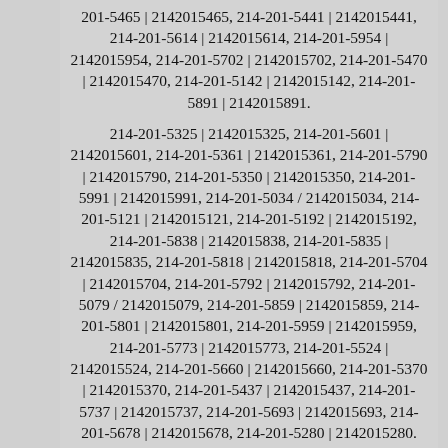201-5465 | 2142015465, 214-201-5441 | 2142015441, 214-201-5614 | 2142015614, 214-201-5954 | 2142015954, 214-201-5702 | 2142015702, 214-201-5470 | 2142015470, 214-201-5142 | 2142015142, 214-201-5891 | 2142015891.
214-201-5325 | 2142015325, 214-201-5601 | 2142015601, 214-201-5361 | 2142015361, 214-201-5790 | 2142015790, 214-201-5350 | 2142015350, 214-201-5991 | 2142015991, 214-201-5034 / 2142015034, 214-201-5121 | 2142015121, 214-201-5192 | 2142015192, 214-201-5838 | 2142015838, 214-201-5835 | 2142015835, 214-201-5818 | 2142015818, 214-201-5704 | 2142015704, 214-201-5792 | 2142015792, 214-201-5079 / 2142015079, 214-201-5859 | 2142015859, 214-201-5801 | 2142015801, 214-201-5959 | 2142015959, 214-201-5773 | 2142015773, 214-201-5524 | 2142015524, 214-201-5660 | 2142015660, 214-201-5370 | 2142015370, 214-201-5437 | 2142015437, 214-201-5737 | 2142015737, 214-201-5693 | 2142015693, 214-201-5678 | 2142015678, 214-201-5280 | 2142015280.